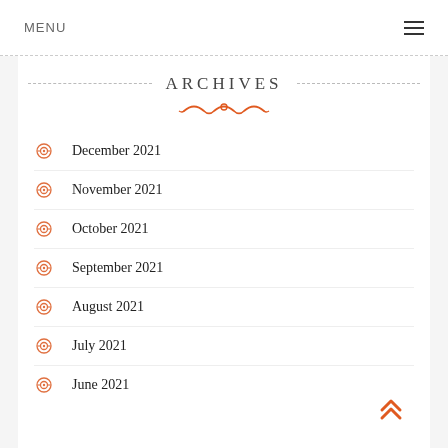MENU
ARCHIVES
December 2021
November 2021
October 2021
September 2021
August 2021
July 2021
June 2021